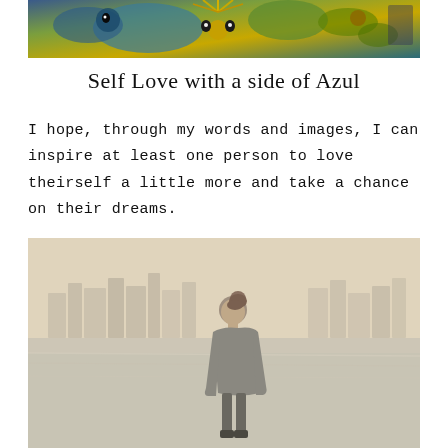[Figure (photo): Colorful decorative image at top with bird and floral motifs in blue, green, gold, and brown tones]
Self Love with a side of Azul
I hope, through my words and images, I can inspire at least one person to love theirself a little more and take a chance on their dreams.
[Figure (photo): Woman with hair in bun wearing grey long-sleeve shirt standing by water with city skyline in background, looking downward]